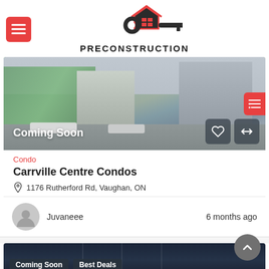[Figure (logo): Preconstruction logo with house and key icon above the text PRECONSTRUCTION]
[Figure (photo): Rendering of Carrville Centre Condos building, a mixed-use development. Overlay text says 'Coming Soon'. Heart and compare buttons visible.]
Condo
Carrville Centre Condos
1176 Rutherford Rd, Vaughan, ON
Juvaneee   6 months ago
[Figure (photo): Partial view of another condo listing at bottom. Tags 'Coming Soon' and 'Best Deals' visible.]